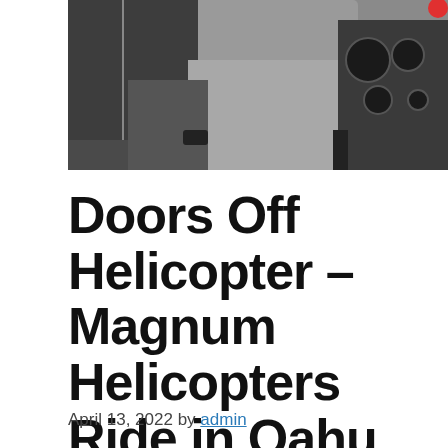[Figure (photo): A person sitting in a helicopter, wearing grey pants and a dark jacket, with helicopter controls visible in the background.]
Doors Off Helicopter – Magnum Helicopters Ride in Oahu, Hawaii!
April 13, 2022 by admin